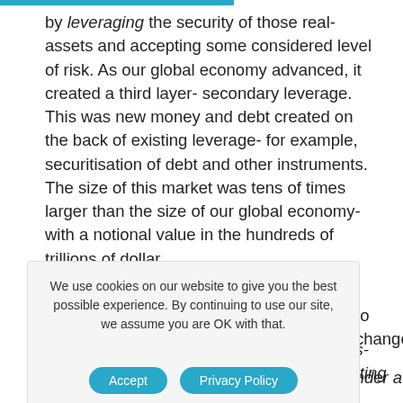by leveraging the security of those real-assets and accepting some considered level of risk. As our global economy advanced, it created a third layer- secondary leverage. This was new money and debt created on the back of existing leverage- for example, securitisation of debt and other instruments. The size of this market was tens of times larger than the size of our global economy- with a notional value in the hundreds of trillions of dollar
We use cookies on our website to give you the best possible experience. By continuing to use our site, we assume you are OK with that.
to change
ess-testing
s under a
ave